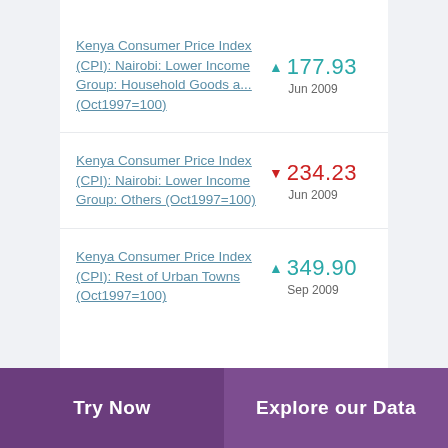Kenya Consumer Price Index (CPI): Nairobi: Lower Income Group: Household Goods a... (Oct1997=100)
Kenya Consumer Price Index (CPI): Nairobi: Lower Income Group: Others (Oct1997=100)
Kenya Consumer Price Index (CPI): Rest of Urban Towns (Oct1997=100)
Try Now | Explore our Data